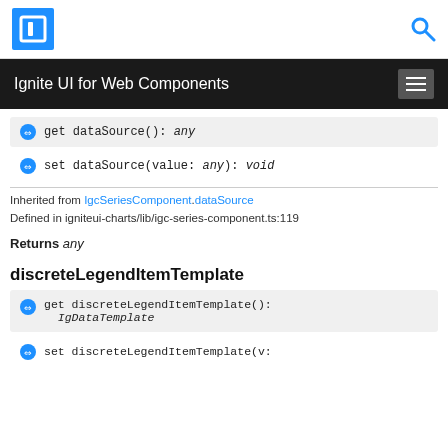Ignite UI for Web Components
get dataSource(): any
set dataSource(value: any): void
Inherited from IgcSeriesComponent.dataSource
Defined in igniteui-charts/lib/igc-series-component.ts:119
Returns any
discreteLegendItemTemplate
get discreteLegendItemTemplate(): IgDataTemplate
set discreteLegendItemTemplate(v: